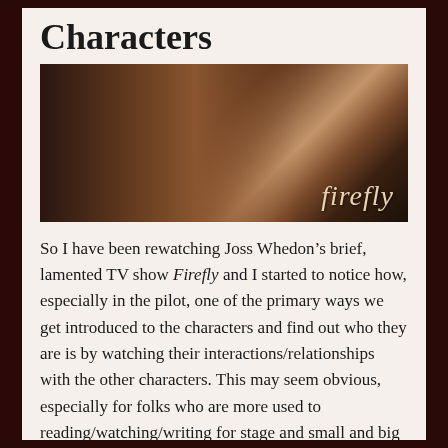Characters
[Figure (photo): Promotional cast photo for the TV show Firefly, showing multiple cast members with the Firefly logo in the lower right]
So I have been rewatching Joss Whedon’s brief, lamented TV show Firefly and I started to notice how, especially in the pilot, one of the primary ways we get introduced to the characters and find out who they are is by watching their interactions/relationships with the other characters. This may seem obvious, especially for folks who are more used to reading/watching/writing for stage and small and big screens, but my background is primarily in